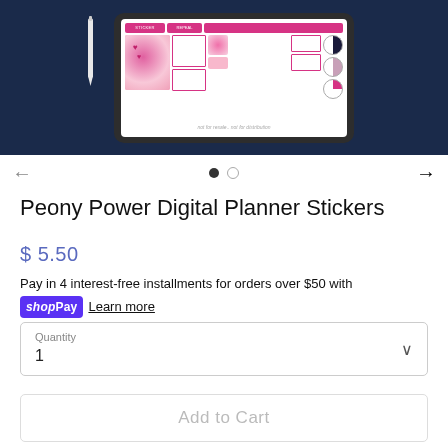[Figure (screenshot): Product image showing a tablet with pink peony digital planner stickers on a dark navy blue background, with a stylus pen beside it]
Peony Power Digital Planner Stickers
$ 5.50
Pay in 4 interest-free installments for orders over $50 with shop Pay Learn more
Quantity
1
Add to Cart